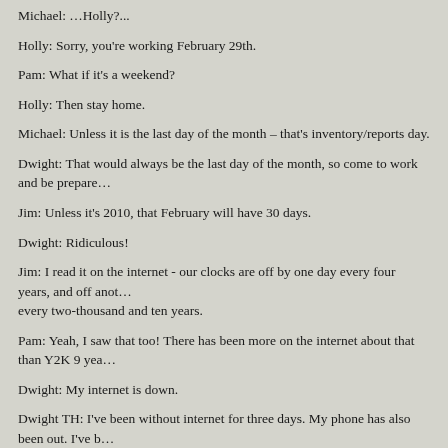Michael: …Holly?...
Holly: Sorry, you're working February 29th.
Pam: What if it's a weekend?
Holly: Then stay home.
Michael: Unless it is the last day of the month – that's inventory/reports day.
Dwight: That would always be the last day of the month, so come to work and be prepare…
Jim: Unless it's 2010, that February will have 30 days.
Dwight: Ridiculous!
Jim: I read it on the internet - our clocks are off by one day every four years, and off anot… every two-thousand and ten years.
Pam: Yeah, I saw that too! There has been more on the internet about that than Y2K 9 yea…
Dwight: My internet is down.
Dwight TH: I've been without internet for three days. My phone has also been out. I've b… my personal cell phone, and I have still outsold the other salesmen this week.
Jim TH: I rewired Dwight's phone cord into his computer, and wired his phone jack to th… All the connections are there, just not wired to the right locations.